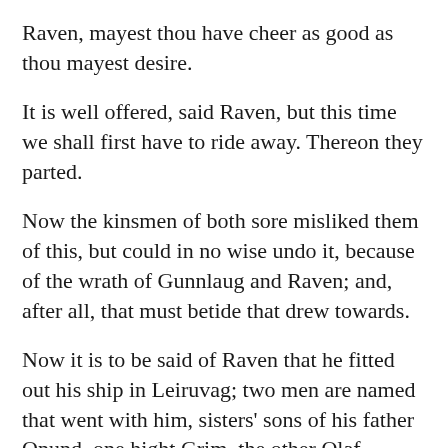Raven, mayest thou have cheer as good as thou mayest desire.
It is well offered, said Raven, but this time we shall first have to ride away. Thereon they parted.
Now the kinsmen of both sore misliked them of this, but could in no wise undo it, because of the wrath of Gunnlaug and Raven; and, after all, that must betide that drew towards.
Now it is to be said of Raven that he fitted out his ship in Leiruvag; two men are named that went with him, sisters' sons of his father Onund, one hight Grim, the other Olaf, doughty men both. All the kinsmen of Raven thought it great scathe when he went away, but he said he had